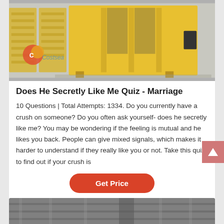[Figure (photo): Yellow industrial jaw crusher / heavy equipment on concrete floor, with Costsearch watermark logo in lower left]
Does He Secretly Like Me Quiz - Marriage
10 Questions | Total Attempts: 1334. Do you currently have a crush on someone? Do you often ask yourself- does he secretly like me? You may be wondering if the feeling is mutual and he likes you back. People can give mixed signals, which makes it harder to understand if they really like you or not. Take this quiz to find out if your crush is
[Figure (other): Get Price button — red rounded rectangle]
[Figure (photo): Partial bottom image of industrial machinery, gray tones]